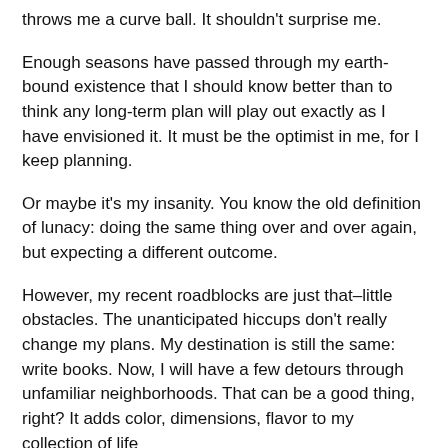throws me a curve ball. It shouldn't surprise me.
Enough seasons have passed through my earth-bound existence that I should know better than to think any long-term plan will play out exactly as I have envisioned it. It must be the optimist in me, for I keep planning.
Or maybe it's my insanity. You know the old definition of lunacy: doing the same thing over and over again, but expecting a different outcome.
However, my recent roadblocks are just that–little obstacles. The unanticipated hiccups don't really change my plans. My destination is still the same: write books. Now, I will have a few detours through unfamiliar neighborhoods. That can be a good thing, right? It adds color, dimensions, flavor to my collection of life